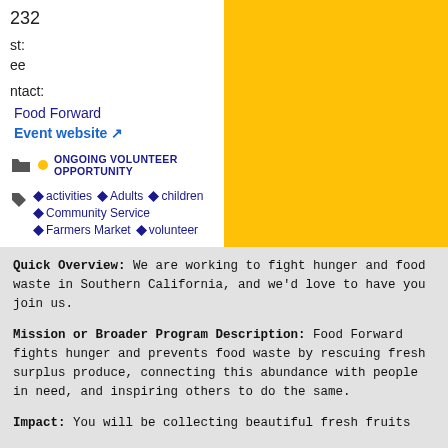232
st:
ee
ntact:
Food Forward
Event website
ONGOING VOLUNTEER OPPORTUNITY
activities
Adults
children
Community Service
Farmers Market
volunteer
Quick Overview: We are working to fight hunger and food waste in Southern California, and we'd love to have you join us.
Mission or Broader Program Description: Food Forward fights hunger and prevents food waste by rescuing fresh surplus produce, connecting this abundance with people in need, and inspiring others to do the same.
Impact: You will be collecting beautiful fresh fruits